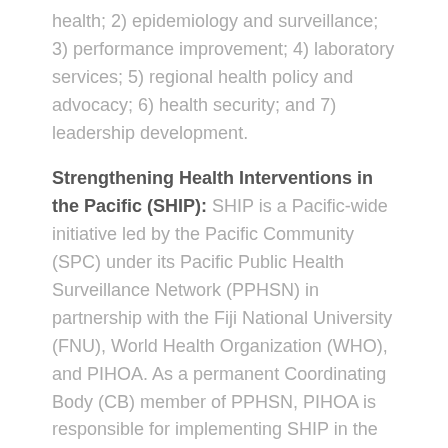health; 2) epidemiology and surveillance; 3) performance improvement; 4) laboratory services; 5) regional health policy and advocacy; 6) health security; and 7) leadership development.
Strengthening Health Interventions in the Pacific (SHIP): SHIP is a Pacific-wide initiative led by the Pacific Community (SPC) under its Pacific Public Health Surveillance Network (PPHSN) in partnership with the Fiji National University (FNU), World Health Organization (WHO), and PIHOA. As a permanent Coordinating Body (CB) member of PPHSN, PIHOA is responsible for implementing SHIP in the USAPIs in partnership with the US Centers for Disease Control and Prevention (CDC) as